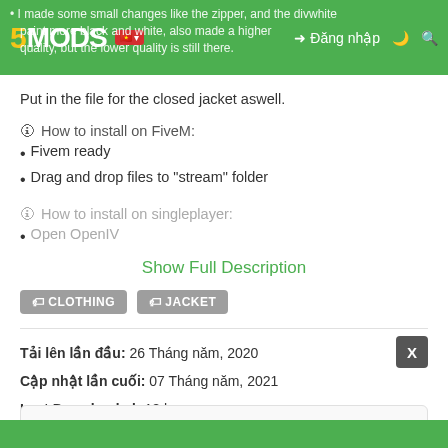5MODS | I made some small changes like the zipper, and the divwhite paint more black and white, also made a higher quality, but the lower quality is still there. | Đăng nhập
Put in the file for the closed jacket aswell.
🛈 How to install on FiveM:
• Fivem ready
• Drag and drop files to "stream" folder
🛈 How to install on singleplayer:
• Open OpenIV
Show Full Description
CLOTHING  JACKET
Tải lên lần đầu: 26 Tháng năm, 2020
Cập nhật lần cuối: 07 Tháng năm, 2021
Last Downloaded: 18 hours ago
☰ All Versions